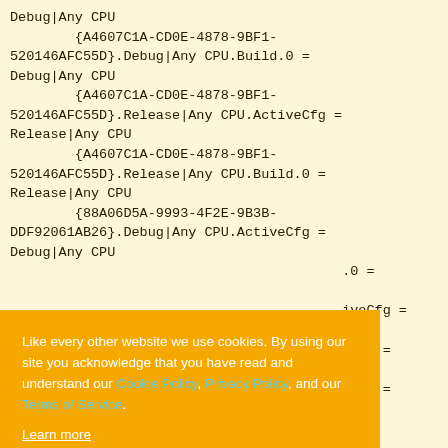Debug|Any CPU
        {A4607C1A-CD0E-4878-9BF1-520146AFC55D}.Debug|Any CPU.Build.0 =
Debug|Any CPU
        {A4607C1A-CD0E-4878-9BF1-520146AFC55D}.Release|Any CPU.ActiveCfg =
Release|Any CPU
        {A4607C1A-CD0E-4878-9BF1-520146AFC55D}.Release|Any CPU.Build.0 =
Release|Any CPU
        {88A06D5A-9993-4F2E-9B3B-DDF92061AB26}.Debug|Any CPU.ActiveCfg =
Debug|Any CPU
        ...Build.0 =
        ...ActiveCfg =
        ...Build.0 =
        ...ActiveCfg =
        {201DF007-B1A4-41C2-AAD3-
...Build.0
[Figure (screenshot): Cookie consent banner overlay on top of code content. Orange background with text: 'Like every other website we use cookies. By using our site you acknowledge that you have read and understand our Cookie Policy, Privacy Policy, and our Terms of Service. Learn more'. Buttons: 'Ask me later', 'Decline', 'Allow cookies'.]